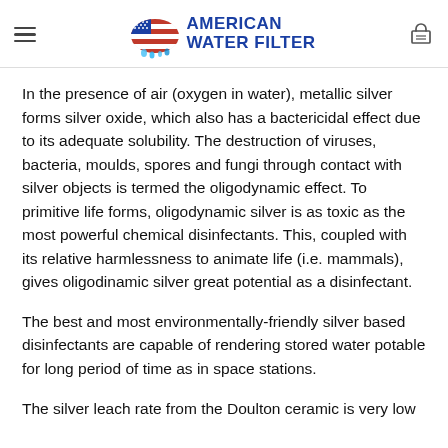AMERICAN WATER FILTER
In the presence of air (oxygen in water), metallic silver forms silver oxide, which also has a bactericidal effect due to its adequate solubility. The destruction of viruses, bacteria, moulds, spores and fungi through contact with silver objects is termed the oligodynamic effect. To primitive life forms, oligodynamic silver is as toxic as the most powerful chemical disinfectants. This, coupled with its relative harmlessness to animate life (i.e. mammals), gives oligodinamic silver great potential as a disinfectant.
The best and most environmentally-friendly silver based disinfectants are capable of rendering stored water potable for long period of time as in space stations.
The silver leach rate from the Doulton ceramic is very low